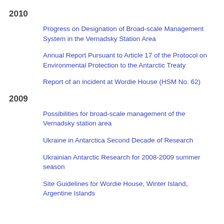2010
Progress on Designation of Broad-scale Management System in the Vernadsky Station Area
Annual Report Pursuant to Article 17 of the Protocol on Environmental Protection to the Antarctic Treaty
Report of an incident at Wordie House (HSM No. 62)
2009
Possibilities for broad-scale management of the Vernadsky station area
Ukraine in Antarctica Second Decade of Research
Ukrainian Antarctic Research for 2008-2009 summer season
Site Guidelines for Wordie House, Winter Island, Argentine Islands